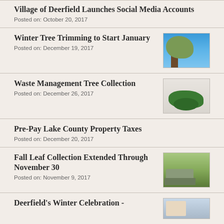Village of Deerfield Launches Social Media Accounts
Posted on: October 20, 2017
Winter Tree Trimming to Start January
Posted on: December 19, 2017
[Figure (photo): Person trimming tree branches against blue sky]
Waste Management Tree Collection
Posted on: December 26, 2017
[Figure (photo): Christmas tree lying in snow for collection]
Pre-Pay Lake County Property Taxes
Posted on: December 20, 2017
Fall Leaf Collection Extended Through November 30
Posted on: November 9, 2017
[Figure (photo): Municipal truck for leaf collection]
Deerfield's Winter Celebration -
[Figure (photo): Winter celebration scene]